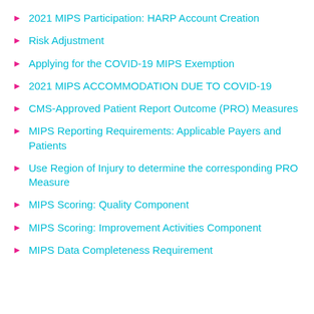2021 MIPS Participation: HARP Account Creation
Risk Adjustment
Applying for the COVID-19 MIPS Exemption
2021 MIPS ACCOMMODATION DUE TO COVID-19
CMS-Approved Patient Report Outcome (PRO) Measures
MIPS Reporting Requirements: Applicable Payers and Patients
Use Region of Injury to determine the corresponding PRO Measure
MIPS Scoring: Quality Component
MIPS Scoring: Improvement Activities Component
MIPS Data Completeness Requirement